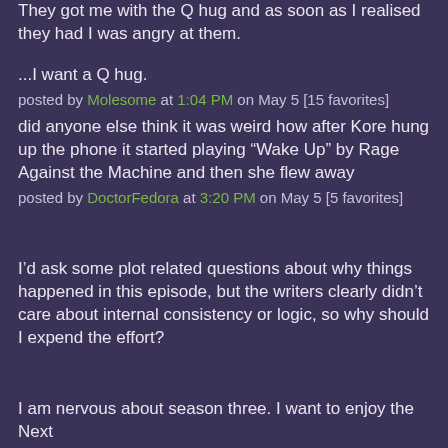They got me with the Q hug and as soon as I realised they had I was angry at them.
...I want a Q hug.
posted by Molesome at 1:04 PM on May 5 [15 favorites]
did anyone else think it was weird how after Kore hung up the phone it started playing “Wake Up” by Rage Against the Machine and then she flew away
posted by DoctorFedora at 3:20 PM on May 5 [5 favorites]
I’d ask some plot related questions about why things happened in this episode, but the writers clearly didn’t care about internal consistency or logic, so why should I expend the effort?
I am nervous about season three. I want to enjoy the Next